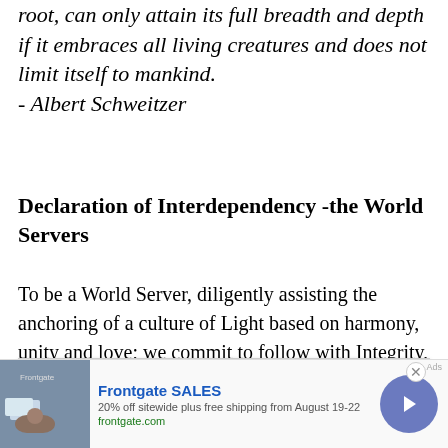root, can only attain its full breadth and depth if it embraces all living creatures and does not limit itself to mankind. - Albert Schweitzer
Declaration of Interdependency -the World Servers
To be a World Server, diligently assisting the anchoring of a culture of Light based on harmony, unity and love; we commit to follow with Integrity, Honesty and Dignity in the conduct of our Actions, being ever mindful of our [... ] e the Practice